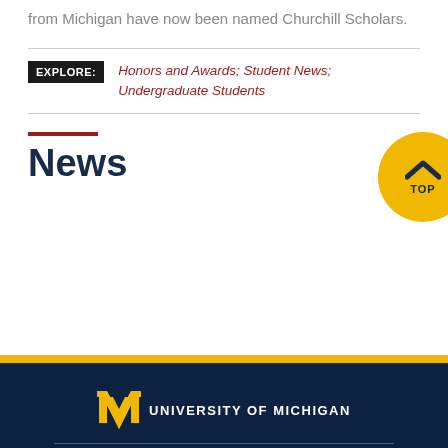from Michigan have now been named Churchill Scholars.
EXPLORE: Honors and Awards; Student News; Undergraduate Students
News
[Figure (other): University of Michigan logo with block M in gold and text UNIVERSITY OF MICHIGAN]
Michigan Engineering
Electrical and Computer